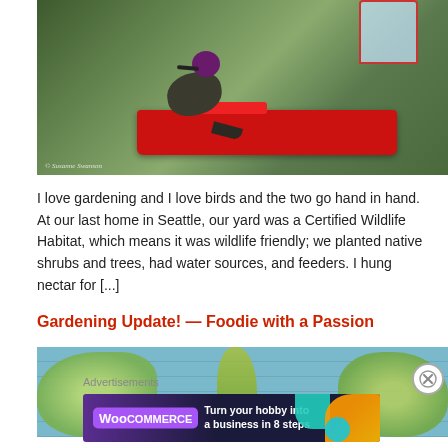[Figure (photo): Hummingbird perched on a red hummingbird feeder, with blurred green background. Photo credit: © Susanne Swanson]
I love gardening and I love birds and the two go hand in hand. At our last home in Seattle, our yard was a Certified Wildlife Habitat, which means it was wildlife friendly; we planted native shrubs and trees, had water sources, and feeders. I hung nectar for [...]
Gardening Update! — Foodie with a Passion
[Figure (photo): Close-up photo of green leafy vegetables (lettuce) on a blue wooden surface with a seedling in the center]
Advertisements
[Figure (other): WooCommerce advertisement banner: Turn your hobby into a business in 8 steps]